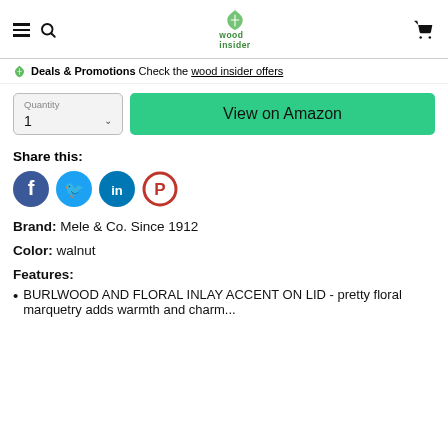wood insider
Deals & Promotions Check the wood insider offers
Quantity 1 | View on Amazon
Share this:
[Figure (other): Social media share icons: Facebook (blue circle with f), Twitter (blue circle with bird), LinkedIn (blue circle with in), Pinterest (red circle with P)]
Brand: Mele & Co. Since 1912
Color: walnut
Features:
BURLWOOD AND FLORAL INLAY ACCENT ON LID - pretty floral marquetry adds warmth and charm...